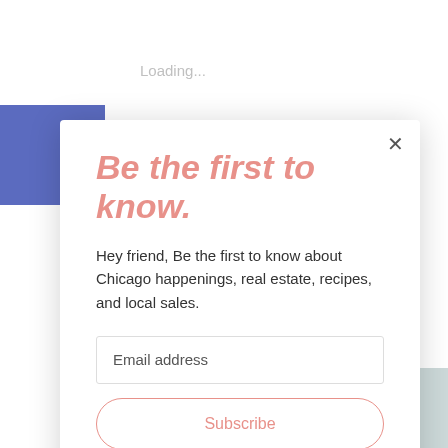Loading...
Be the first to know.
Hey friend, Be the first to know about Chicago happenings, real estate, recipes, and local sales.
Email address
Subscribe